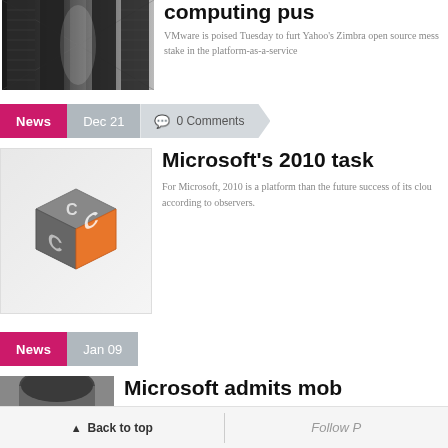[Figure (photo): Server rack corridor photo, dark with perspective]
computing pus
VMware is poised Tuesday to furt Yahoo's Zimbra open source mess stake in the platform-as-a-service
News  Dec 21  0 Comments
[Figure (logo): 3D cube logo with orange and grey faces and letter C]
Microsoft's 2010 task
For Microsoft, 2010 is a platform than the future success of its clou according to observers.
News  Jan 09
[Figure (photo): Partial photo of a person's head/hair]
Microsoft admits mob
Back to top   Follow P